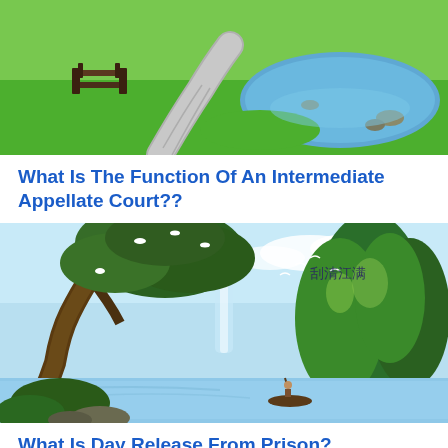[Figure (photo): Park scene with a winding brick path, green grass, a wooden bench on the left, and a circular pond or water feature on the right.]
What Is The Function Of An Intermediate Appellate Court??
[Figure (illustration): Chinese landscape painting showing a large ancient tree on the left with white birds, misty mountains in the background, a calm river, and a small boat with a figure. Chinese calligraphy text in upper right area.]
What Is Day Release From Prison?